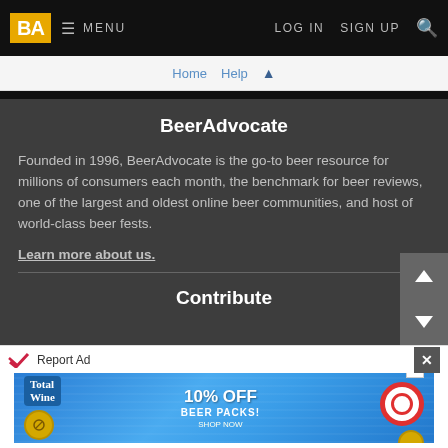BA MENU | LOG IN | SIGN UP | Search
Home  Help  ↑
BeerAdvocate
Founded in 1996, BeerAdvocate is the go-to beer resource for millions of consumers each month, the benchmark for beer reviews, one of the largest and oldest online beer communities, and host of world-class beer fests.
Learn more about us.
Contribute
Report Ad
[Figure (screenshot): Total Wine advertisement banner showing '10% OFF BEER PACKS!' with a pool/water background, coin logos, and a life preserver]